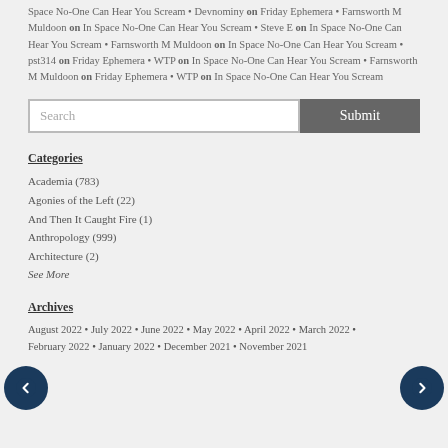Space No-One Can Hear You Scream • Devnominy on Friday Ephemera • Farnsworth M Muldoon on In Space No-One Can Hear You Scream • Steve E on In Space No-One Can Hear You Scream • Farnsworth M Muldoon on In Space No-One Can Hear You Scream • pst314 on Friday Ephemera • WTP on In Space No-One Can Hear You Scream • Farnsworth M Muldoon on Friday Ephemera • WTP on In Space No-One Can Hear You Scream
Search | Submit
Categories
Academia (783)
Agonies of the Left (22)
And Then It Caught Fire (1)
Anthropology (999)
Architecture (2)
See More
Archives
August 2022 • July 2022 • June 2022 • May 2022 • April 2022 • March 2022 • February 2022 • January 2022 • December 2021 • November 2021